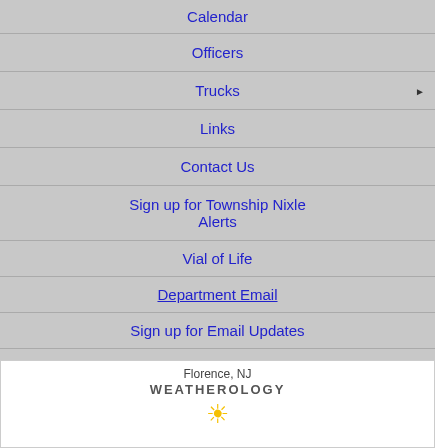Calendar
Officers
Trucks
Links
Contact Us
Sign up for Township Nixle Alerts
Vial of Life
Department Email
Sign up for Email Updates
Members Only
[Figure (other): Florence, NJ Weatherology weather widget with sun icon]
Fire School Graduation
Township Press Release
Firework Safety
Retirement
Swearing in of Officer
Fraudulent Calls
Change Clocks and Batteries
Recalls
EMS Privacy Policy